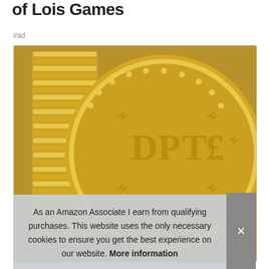of Lois Games
#ad
[Figure (photo): Close-up photo of gold coins, with a stack of coins on the left and a large gold coin in the center showing embossed text and decorations.]
As an Amazon Associate I earn from qualifying purchases. This website uses the only necessary cookies to ensure you get the best experience on our website. More information